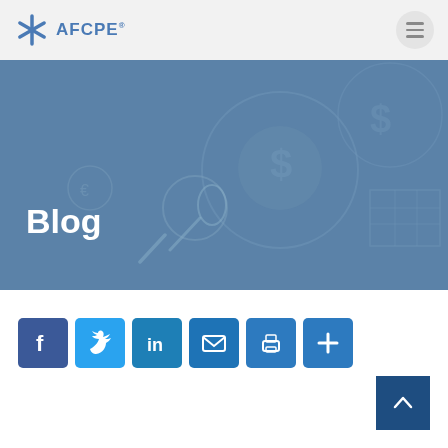AFCPE
[Figure (illustration): AFCPE website blog page header banner with financial icons (dollar signs, magnifying glass, microphone, table/grid) overlaid on a steel blue background, with large white bold 'Blog' title]
[Figure (infographic): Social share buttons row: Facebook, Twitter, LinkedIn, Email, Print, and Plus/more icons in blue rounded square buttons]
[Figure (other): Dark navy blue back-to-top button with upward arrow, bottom right corner]